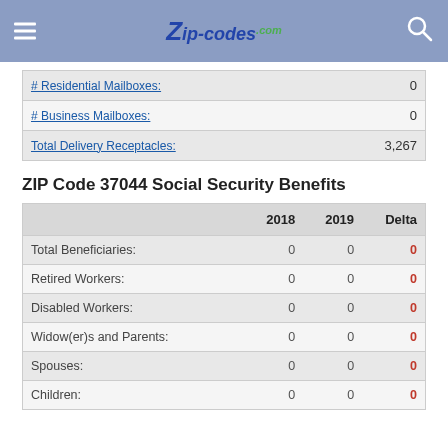ZIP-CODES.com
|  |  |
| --- | --- |
| # Residential Mailboxes: | 0 |
| # Business Mailboxes: | 0 |
| Total Delivery Receptacles: | 3,267 |
ZIP Code 37044 Social Security Benefits
|  | 2018 | 2019 | Delta |
| --- | --- | --- | --- |
| Total Beneficiaries: | 0 | 0 | 0 |
| Retired Workers: | 0 | 0 | 0 |
| Disabled Workers: | 0 | 0 | 0 |
| Widow(er)s and Parents: | 0 | 0 | 0 |
| Spouses: | 0 | 0 | 0 |
| Children: | 0 | 0 | 0 |